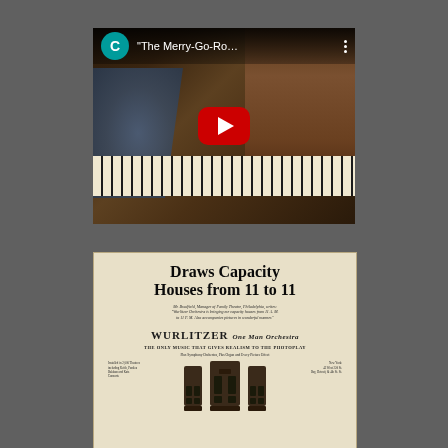[Figure (screenshot): YouTube video thumbnail showing a person playing a piano/organ instrument. The video title reads '"The Merry-Go-Ro...' with a channel icon showing letter C on teal background, a red YouTube play button in the center, and a three-dot menu icon.]
[Figure (photo): Vintage Wurlitzer advertisement with text 'Draws Capacity Houses from 11 to 11'. Includes a quote from Mr. Bradfield, Manager of Family Theatre, Philadelphia. Features 'WURLITZER One Man Orchestra' branding, tagline 'THE ONLY MUSIC THAT GIVES REALISM TO THE PHOTOPLAY', and images of Wurlitzer instruments.]